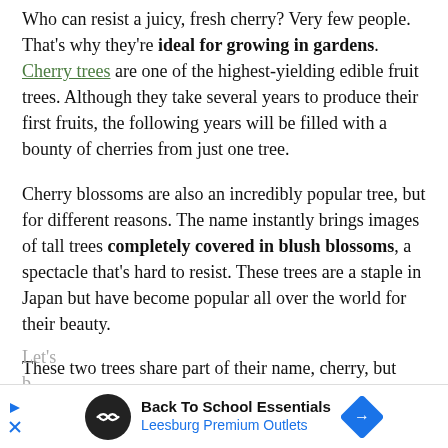Who can resist a juicy, fresh cherry? Very few people. That's why they're ideal for growing in gardens. Cherry trees are one of the highest-yielding edible fruit trees. Although they take several years to produce their first fruits, the following years will be filled with a bounty of cherries from just one tree.
Cherry blossoms are also an incredibly popular tree, but for different reasons. The name instantly brings images of tall trees completely covered in blush blossoms, a spectacle that's hard to resist. These trees are a staple in Japan but have become popular all over the world for their beauty.
These two trees share part of their name, cherry, but that's not all they share. At the same time, they are not exactly the same tree as some may assume.
Let's b[...] s, what i[...] ould